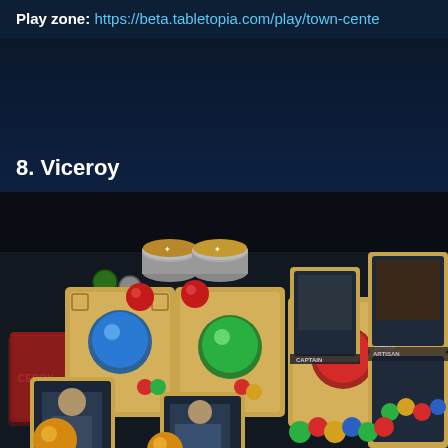Play zone: https://beta.tabletopia.com/play/town-cente
8. Viceroy
[Figure (photo): Photograph of the Viceroy board game in play, showing cards with colored gem tokens (blue, red, green, yellow), stacks of circular tokens, and character cards labeled Castellan, Prince, Artisan, Captain on a dark gaming surface.]